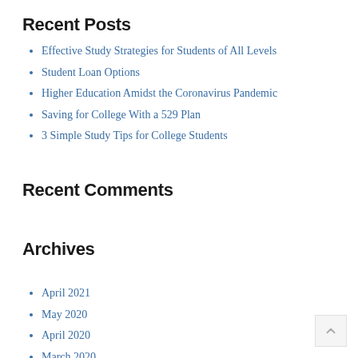Recent Posts
Effective Study Strategies for Students of All Levels
Student Loan Options
Higher Education Amidst the Coronavirus Pandemic
Saving for College With a 529 Plan
3 Simple Study Tips for College Students
Recent Comments
Archives
April 2021
May 2020
April 2020
March 2020